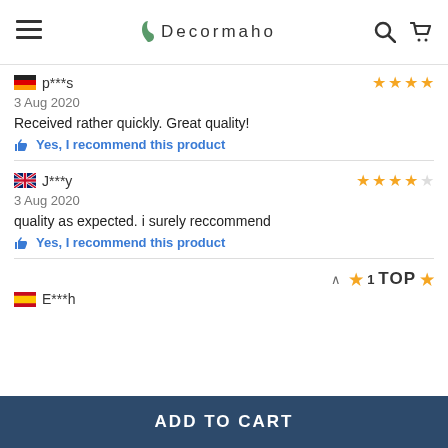Decormaho
p***s | 3 Aug 2020 | Received rather quickly. Great quality! | Yes, I recommend this product
J***y | 3 Aug 2020 | quality as expected. i surely reccommend | Yes, I recommend this product
E***h | TOP
ADD TO CART